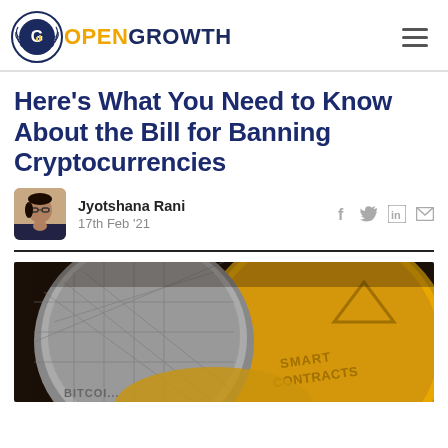OPENGROWTH
Here's What You Need to Know About the Bill for Banning Cryptocurrencies
Jyotshana Rani
17th Feb '21
[Figure (photo): Close-up of gold and silver cryptocurrency coins including Bitcoin and a coin inscribed with 'SMART CONTRACTS']